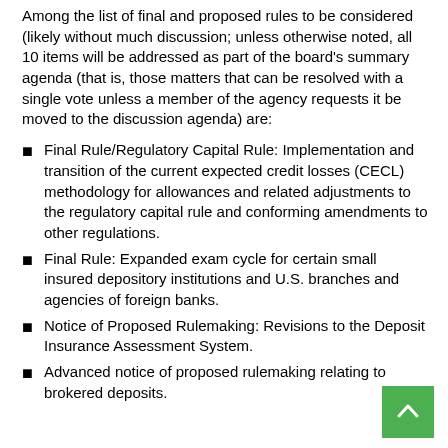Among the list of final and proposed rules to be considered (likely without much discussion; unless otherwise noted, all 10 items will be addressed as part of the board's summary agenda (that is, those matters that can be resolved with a single vote unless a member of the agency requests it be moved to the discussion agenda) are:
Final Rule/Regulatory Capital Rule: Implementation and transition of the current expected credit losses (CECL) methodology for allowances and related adjustments to the regulatory capital rule and conforming amendments to other regulations.
Final Rule: Expanded exam cycle for certain small insured depository institutions and U.S. branches and agencies of foreign banks.
Notice of Proposed Rulemaking: Revisions to the Deposit Insurance Assessment System.
Advanced notice of proposed rulemaking relating to brokered deposits.